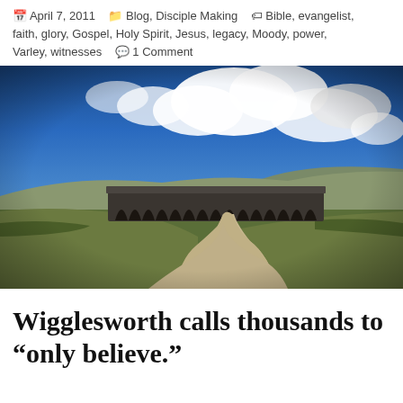April 7, 2011  Blog, Disciple Making  Bible, evangelist, faith, glory, Gospel, Holy Spirit, Jesus, legacy, Moody, power, Varley, witnesses  1 Comment
[Figure (photo): Landscape photograph of a stone viaduct with multiple arches spanning across moorland, with a winding gravel path in the foreground, green grassy fields, rolling hills in the background, and a dramatic blue sky with large white clouds.]
Wigglesworth calls thousands to “only believe.”